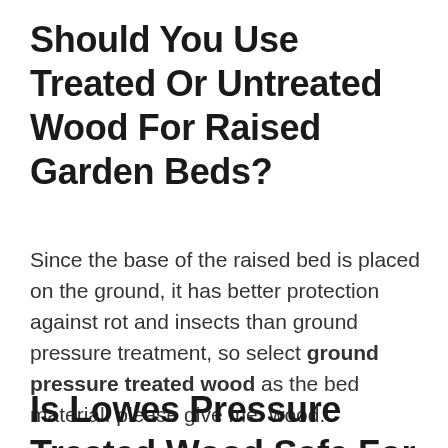Should You Use Treated Or Untreated Wood For Raised Garden Beds?
Since the base of the raised bed is placed on the ground, it has better protection against rot and insects than ground pressure treatment, so select ground pressure treated wood as the bed material. please give me. wood.
Is Lowes Pressure Treated Wood Safe For Garden...